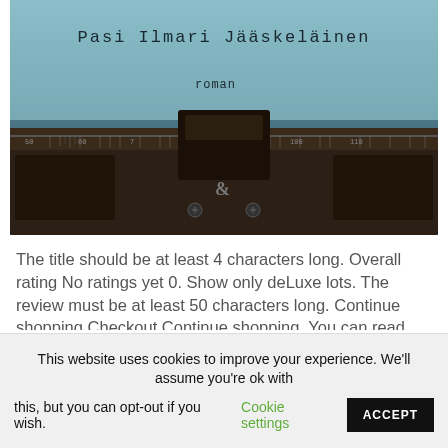[Figure (photo): Book cover image showing a typewriter close-up with the text 'Pasi Ilmari Jääskeläinen' and 'roman' overlaid on a teal/blue background]
The title should be at least 4 characters long. Overall rating No ratings yet 0. Show only deLuxe lots. The review must be at least 50 characters long. Continue shopping Checkout Continue shopping. You can read this item using any of the following Kobo apps and devices: See
This website uses cookies to improve your experience. We'll assume you're ok with this, but you can opt-out if you wish. Cookie settings ACCEPT